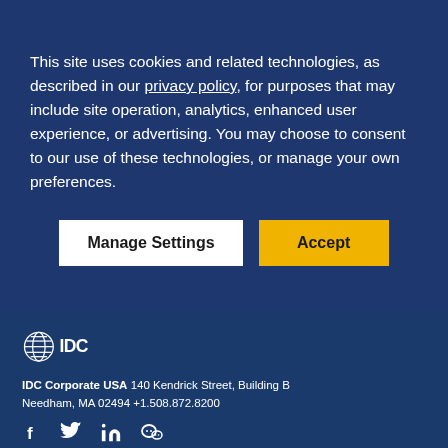This site uses cookies and related technologies, as described in our privacy policy, for purposes that may include site operation, analytics, enhanced user experience, or advertising. You may choose to consent to our use of these technologies, or manage your own preferences.
[Figure (other): Two buttons: 'Manage Settings' (white background, dark text) and 'Accept' (yellow background, dark text)]
[Figure (logo): IDC logo — striped globe icon followed by 'IDC' text in white, on dark blue background]
IDC Corporate USA 140 Kendrick Street, Building B Needham, MA 02494 +1.508.872.8200
[Figure (other): Social media icons: Facebook (f), Twitter (bird), LinkedIn (in), WeChat]